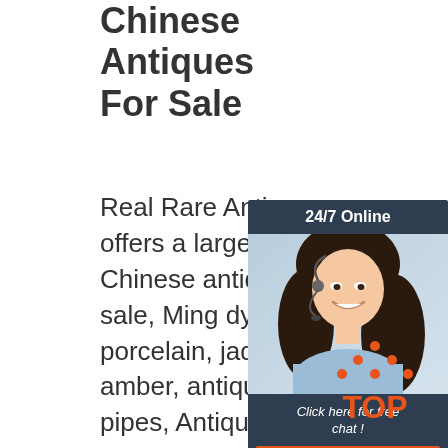Chinese Antiques For Sale
Real Rare Antiques offers a large variety of Chinese antiques for sale, Ming dynasty porcelain, jade, burmite amber, antique opium pipes, Antique snuff bottles, and many
[Figure (photo): Advertisement panel showing a woman with headset and text '24/7 Online', 'Click here for free chat!', and a QUOTATION button]
[Figure (logo): Orange TOP arrow icon with dots at top and 'TOP' text below in orange]